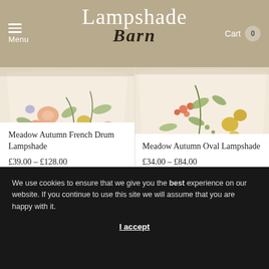Menu | Lampshade Barn | Cart 0
[Figure (photo): Meadow Autumn French Drum Lampshade product photo showing a drum-shaped lampshade with floral meadow pattern in autumn colours]
Meadow Autumn French Drum Lampshade
£39.00 – £128.00
[Figure (photo): Meadow Autumn Oval Lampshade product photo showing an oval lampshade with floral meadow pattern in autumn colours]
Meadow Autumn Oval Lampshade
£34.00 – £84.00
We use cookies to ensure that we give you the best experience on our website. If you continue to use this site we will assume that you are happy with it.
I accept